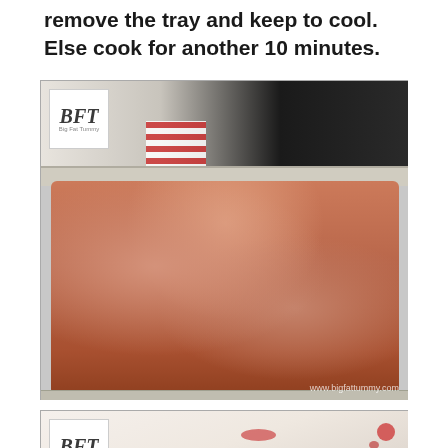remove the tray and keep to cool. Else cook for another 10 minutes.
[Figure (photo): A meatloaf in a metal baking tray, cooked and reddish-brown in color, with a BFT logo badge in the top-left corner and watermark 'www.bigfattummy.com' in the bottom-right.]
[Figure (photo): Partial view of a second image showing what appears to be a cutting board or tray with some red juice/blood splatter, BFT logo badge top-left, and an orange scroll-to-top arrow button bottom-right.]